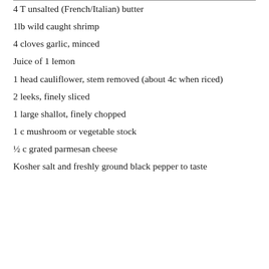4 T unsalted (French/Italian) butter
1lb wild caught shrimp
4 cloves garlic, minced
Juice of 1 lemon
1 head cauliflower, stem removed (about 4c when riced)
2 leeks, finely sliced
1 large shallot, finely chopped
1 c mushroom or vegetable stock
½ c grated parmesan cheese
Kosher salt and freshly ground black pepper to taste